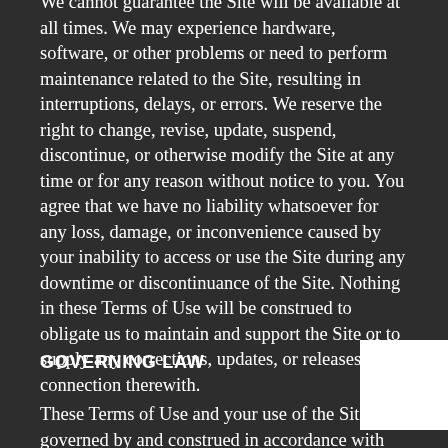We cannot guarantee the Site will be available at all times. We may experience hardware, software, or other problems or need to perform maintenance related to the Site, resulting in interruptions, delays, or errors. We reserve the right to change, revise, update, suspend, discontinue, or otherwise modify the Site at any time or for any reason without notice to you. You agree that we have no liability whatsoever for any loss, damage, or inconvenience caused by your inability to access or use the Site during any downtime or discontinuance of the Site. Nothing in these Terms of Use will be construed to obligate us to maintain and support the Site or to supply any corrections, updates, or releases in connection therewith.
GOVERNING LAW
These Terms of Use and your use of the Site are governed by and construed in accordance with